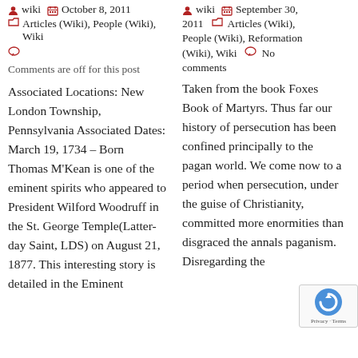wiki  October 8, 2011  Articles (Wiki), People (Wiki), Wiki  [comment icon]  Comments are off for this post
Associated Locations: New London Township, Pennsylvania Associated Dates: March 19, 1734 – Born Thomas M'Kean is one of the eminent spirits who appeared to President Wilford Woodruff in the St. George Temple(Latter-day Saint, LDS) on August 21, 1877. This interesting story is detailed in the Eminent
wiki  September 30, 2011  Articles (Wiki), People (Wiki), Reformation (Wiki), Wiki  No comments
Taken from the book Foxes Book of Martyrs. Thus far our history of persecution has been confined principally to the pagan world. We come now to a period when persecution, under the guise of Christianity, committed more enormities than disgraced the annals paganism. Disregarding the